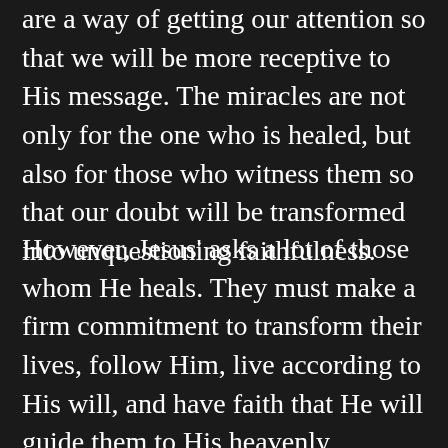are a way of getting our attention so that we will be more receptive to His message. The miracles are not only for the one who is healed, but also for those who witness them so that our doubt will be transformed into unquestioning faithfulness.
However, Jesus' asks a lot of those whom He heals. They must make a firm commitment to transform their lives, follow Him, live according to His will, and have faith that He will guide them to His heavenly kingdom. Luke's Gospel talks of Jesus healing ten leapers. Of that ten only one came back to thank and praise Him at which point Jesus said that his faith made him well. The other nine eventually died, as we all do, so their physical healing was only